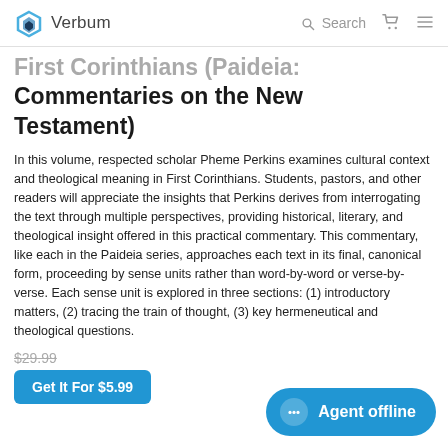Verbum  Search
First Corinthians (Paideia: Commentaries on the New Testament)
In this volume, respected scholar Pheme Perkins examines cultural context and theological meaning in First Corinthians. Students, pastors, and other readers will appreciate the insights that Perkins derives from interrogating the text through multiple perspectives, providing historical, literary, and theological insight offered in this practical commentary. This commentary, like each in the Paideia series, approaches each text in its final, canonical form, proceeding by sense units rather than word-by-word or verse-by-verse. Each sense unit is explored in three sections: (1) introductory matters, (2) tracing the train of thought, (3) key hermeneutical and theological questions.
$29.99
Get It For $5.99
Agent offline